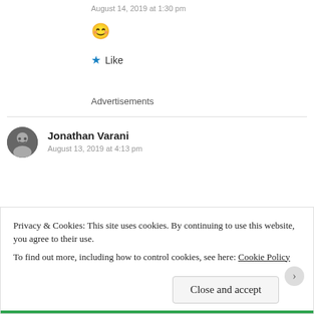August 14, 2019 at 1:30 pm
[Figure (illustration): Slightly smiling emoji face]
★ Like
Advertisements
Jonathan Varani
August 13, 2019 at 4:13 pm
Privacy & Cookies: This site uses cookies. By continuing to use this website, you agree to their use. To find out more, including how to control cookies, see here: Cookie Policy
Close and accept